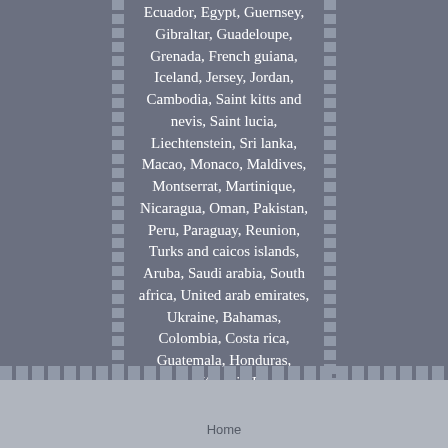Ecuador, Egypt, Guernsey, Gibraltar, Guadeloupe, Grenada, French guiana, Iceland, Jersey, Jordan, Cambodia, Saint kitts and nevis, Saint lucia, Liechtenstein, Sri lanka, Macao, Monaco, Maldives, Montserrat, Martinique, Nicaragua, Oman, Pakistan, Peru, Paraguay, Reunion, Turks and caicos islands, Aruba, Saudi arabia, South africa, United arab emirates, Ukraine, Bahamas, Colombia, Costa rica, Guatemala, Honduras, Jamaica, Kuwait, Panama, Philippines, Qatar, Trinidad and tobago, Uruguay, Viet nam.
Brand: Seagate Type: Not Available MPN: ST10000NM002G Manufacturer Warranty: 1 year
Home